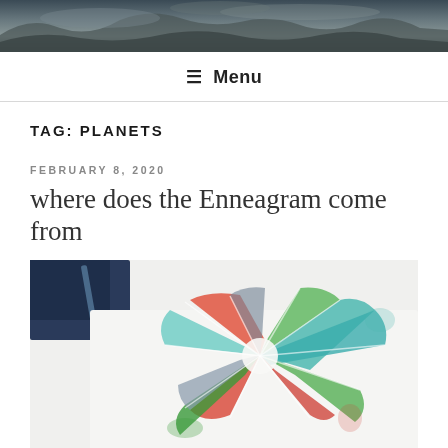[Figure (photo): Landscape photo showing hills and dramatic cloudy sky, used as blog header banner]
≡ Menu
TAG: PLANETS
FEBRUARY 8, 2020
where does the Enneagram come from
[Figure (photo): Watercolor painting of a circular/enneagram-style wheel with colorful triangular segments in red, teal, green, and gray colors on white paper]